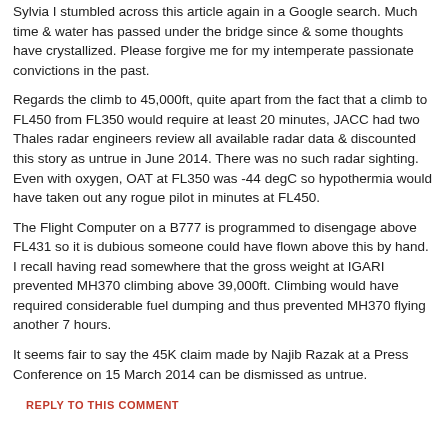Sylvia I stumbled across this article again in a Google search. Much time & water has passed under the bridge since & some thoughts have crystallized. Please forgive me for my intemperate passionate convictions in the past.
Regards the climb to 45,000ft, quite apart from the fact that a climb to FL450 from FL350 would require at least 20 minutes, JACC had two Thales radar engineers review all available radar data & discounted this story as untrue in June 2014. There was no such radar sighting. Even with oxygen, OAT at FL350 was -44 degC so hypothermia would have taken out any rogue pilot in minutes at FL450.
The Flight Computer on a B777 is programmed to disengage above FL431 so it is dubious someone could have flown above this by hand. I recall having read somewhere that the gross weight at IGARI prevented MH370 climbing above 39,000ft. Climbing would have required considerable fuel dumping and thus prevented MH370 flying another 7 hours.
It seems fair to say the 45K claim made by Najib Razak at a Press Conference on 15 March 2014 can be dismissed as untrue.
REPLY TO THIS COMMENT